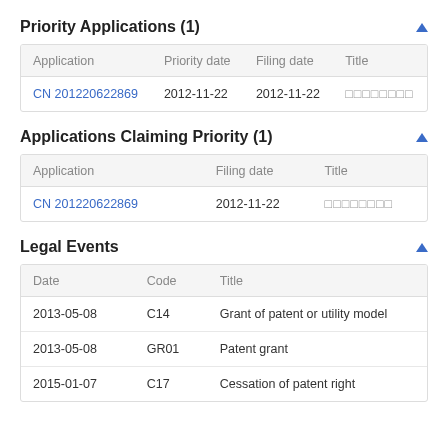Priority Applications (1)
| Application | Priority date | Filing date | Title |
| --- | --- | --- | --- |
| CN 201220622869 | 2012-11-22 | 2012-11-22 | □□□□□□□□ |
Applications Claiming Priority (1)
| Application | Filing date | Title |
| --- | --- | --- |
| CN 201220622869 | 2012-11-22 | □□□□□□□□ |
Legal Events
| Date | Code | Title |
| --- | --- | --- |
| 2013-05-08 | C14 | Grant of patent or utility model |
| 2013-05-08 | GR01 | Patent grant |
| 2015-01-07 | C17 | Cessation of patent right |